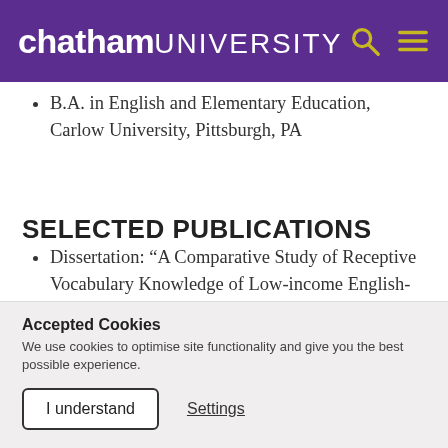chatham UNIVERSITY
B.A. in English and Elementary Education, Carlow University, Pittsburgh, PA
SELECTED PUBLICATIONS
Dissertation: “A Comparative Study of Receptive Vocabulary Knowledge of Low-income English-dominant Fourth Grade
Accepted Cookies
We use cookies to optimise site functionality and give you the best possible experience.
I understand  Settings